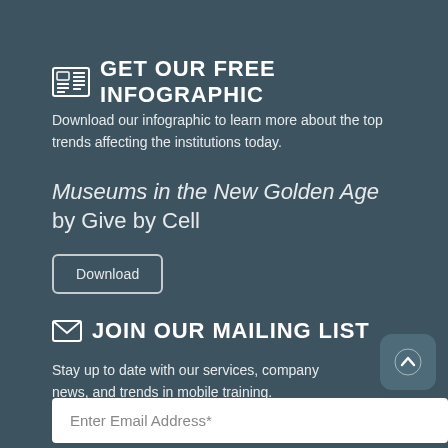GET OUR FREE INFOGRAPHIC
Download our infographic to learn more about the top trends affecting the institutions today.
Museums in the New Golden Age by Give by Cell
Download
JOIN OUR MAILING LIST
Stay up to date with our services, company news, and trends in mobile training.
Enter Email Address*